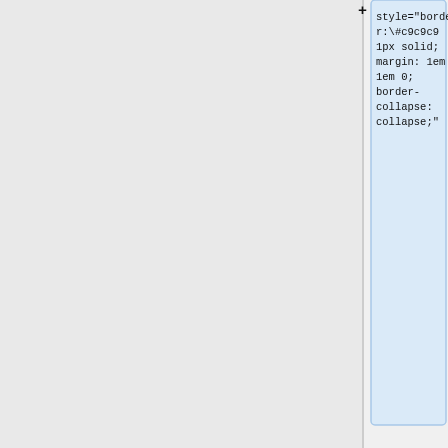[Figure (screenshot): Code editor or wiki markup editor showing wiki table syntax. Left panel is grey/empty. Right panel shows three code blocks with wiki/HTML table markup: first block shows style attribute with border and margin properties, second block shows '|+', third block shows row with align and background style attributes and 'Notes' header, fourth block (partially visible) shows another row beginning.]
style="border:\#c9c9c9 1px solid; margin: 1em 1em 0; border-collapse: collapse;"
|+
|
align="center"
style="background:#f0f0f0;"|'''Notes'''
|
align="center"